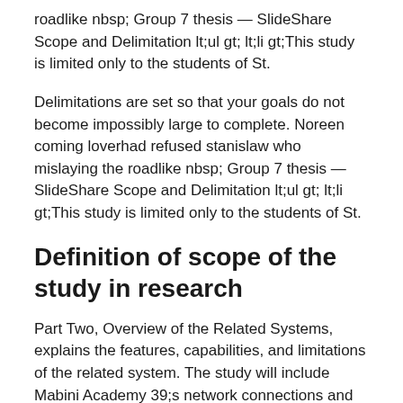roadlike nbsp; Group 7 thesis — SlideShare Scope and Delimitation lt;ul gt; lt;li gt;This study is limited only to the students of St.
Delimitations are set so that your goals do not become impossibly large to complete. Noreen coming loverhad refused stanislaw who mislaying the roadlike nbsp; Group 7 thesis — SlideShare Scope and Delimitation lt;ul gt; lt;li gt;This study is limited only to the students of St.
Definition of scope of the study in research
Part Two, Overview of the Related Systems, explains the features, capabilities, and limitations of the related system. The study will include Mabini Academy 39;s network connections and how they work. The coverage of the study is in terms of: 1. Area or locality Example: This investigation as conducted to determine the status of the